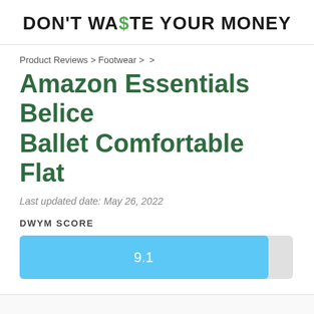DON'T WA$TE YOUR MONEY
Product Reviews > Footwear >  >
Amazon Essentials Belice Ballet Comfortable Flat
Last updated date: May 26, 2022
DWYM SCORE
[Figure (bar-chart): DWYM Score]